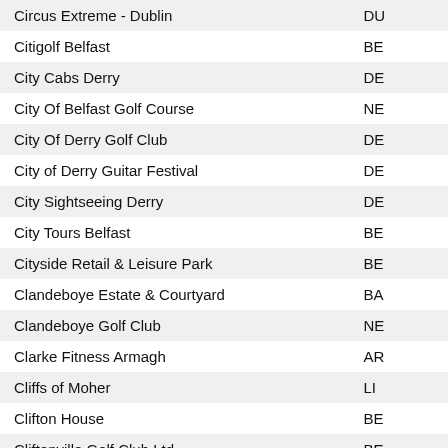| Name | Code |
| --- | --- |
| Circus Extreme - Dublin | DU |
| Citigolf Belfast | BE |
| City Cabs Derry | DE |
| City Of Belfast Golf Course | NE |
| City Of Derry Golf Club | DE |
| City of Derry Guitar Festival | DE |
| City Sightseeing Derry | DE |
| City Tours Belfast | BE |
| Cityside Retail & Leisure Park | BE |
| Clandeboye Estate & Courtyard | BA |
| Clandeboye Golf Club | NE |
| Clarke Fitness Armagh | AR |
| Cliffs of Moher | LI |
| Clifton House | BE |
| Cliftonville Golf Club Ltd | BE |
| Clitana Bed And Breakfast | LI |
| Cloak and Dagger | AN |
| Clogher Valley Agricultural Society Ltd | AU |